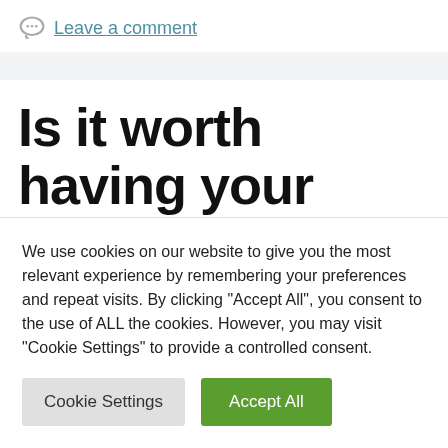Leave a comment
Is it worth having your own cryptocurrency farm
We use cookies on our website to give you the most relevant experience by remembering your preferences and repeat visits. By clicking "Accept All", you consent to the use of ALL the cookies. However, you may visit "Cookie Settings" to provide a controlled consent.